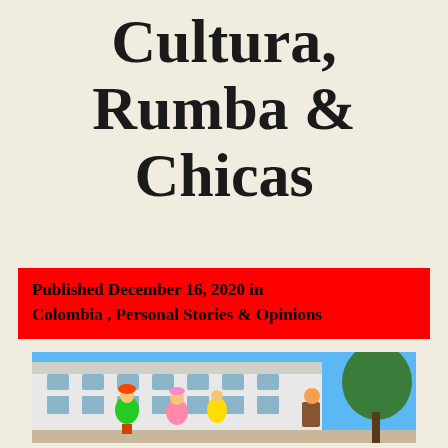Cultura, Rumba & Chicas
Published December 16, 2020 in Colombia , Personal Stories & Opinions
[Figure (photo): Colombian dancers in traditional colorful costumes performing in front of a white colonial building, with a drummer and trees in the background under a blue sky]